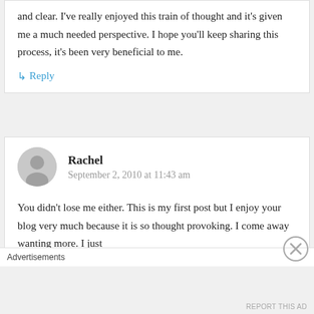and clear. I've really enjoyed this train of thought and it's given me a much needed perspective. I hope you'll keep sharing this process, it's been very beneficial to me.
↳ Reply
Rachel
September 2, 2010 at 11:43 am
You didn't lose me either. This is my first post but I enjoy your blog very much because it is so thought provoking. I come away wanting more. I just
Advertisements
REPORT THIS AD